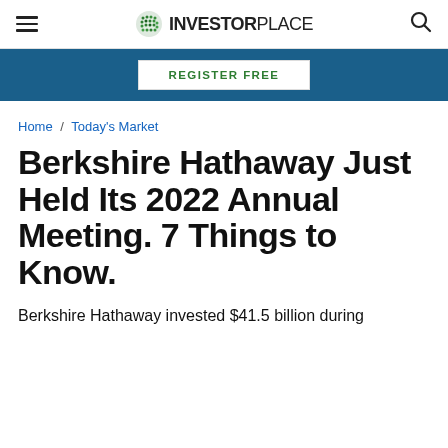InvestorPlace
REGISTER FREE
Home / Today's Market
Berkshire Hathaway Just Held Its 2022 Annual Meeting. 7 Things to Know.
Berkshire Hathaway invested $41.5 billion during